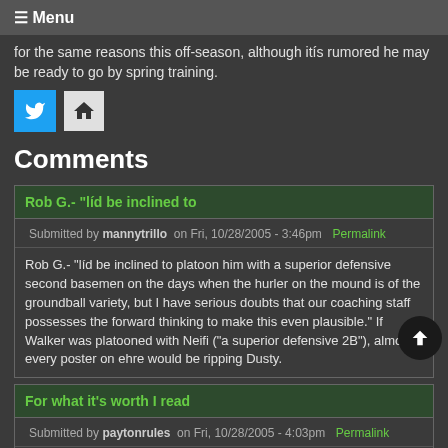≡ Menu
for the same reasons this off-season, although itís rumored he may be ready to go by spring training.
[Figure (illustration): Twitter bird icon and home icon]
Comments
Rob G.- "líd be inclined to
Submitted by mannytrillo on Fri, 10/28/2005 - 3:46pm Permalink
Rob G.- "líd be inclined to platoon him with a superior defensive second basemen on the days when the hurler on the mound is of the groundball variety, but I have serious doubts that our coaching staff possesses the forward thinking to make this even plausible." If Walker was platooned with Neifi ("a superior defensive 2B"), almost every poster on ehre would be ripping Dusty.
For what it's worth I read
Submitted by paytonrules on Fri, 10/28/2005 - 4:03pm Permalink
For what it's worth I read "superior defensive replacement" and